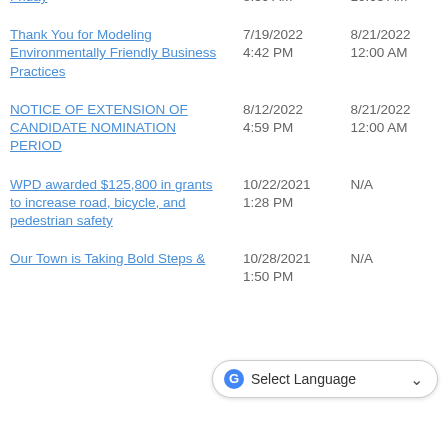| Title | Post Date | Close Date |
| --- | --- | --- |
| Friday | 8:39 AM | 10:05 AM |
| Thank You for Modeling Environmentally Friendly Business Practices | 7/19/2022 4:42 PM | 8/21/2022 12:00 AM |
| NOTICE OF EXTENSION OF CANDIDATE NOMINATION PERIOD | 8/12/2022 4:59 PM | 8/21/2022 12:00 AM |
| WPD awarded $125,800 in grants to increase road, bicycle, and pedestrian safety | 10/22/2021 1:28 PM | N/A |
| Our Town is Taking Bold Steps &… | 10/28/2021 1:50 PM | N/A |